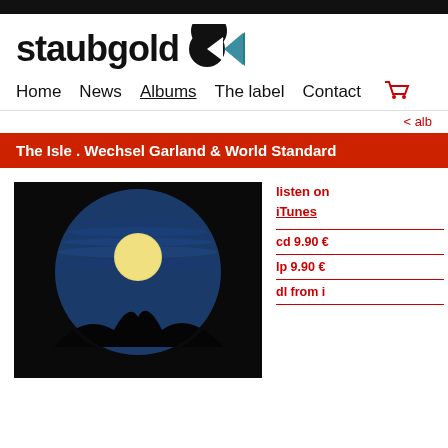[Figure (logo): Staubgold label logo: bold black text 'staubgold' with a geometric icon (circle and triangle/arrow shape in black and teal)]
Home   News   Albums   The label   Contact
< alb
The Isle . Wechsel Garland & World Standard
[Figure (photo): Album cover art: a full moon visible through a circular opening, set against a dark sky with blue circular frame and dark silhouette of mountains at bottom]
listen on
iTunes
cd 9.90 €
lp 9.90 €
dl from i